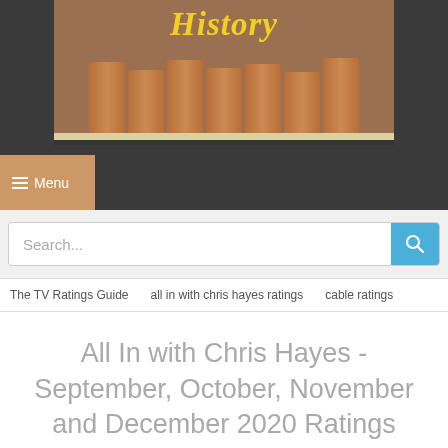[Figure (photo): Header image showing clay or terracotta cylindrical archive rolls/scrolls on a shelf, with the word 'History' written in yellow italic script overlaid on top]
☰ Menu
Search...
The TV Ratings Guide   all in with chris hayes ratings   cable ratings
All In with Chris Hayes - September, October, November and December 2020 Ratings